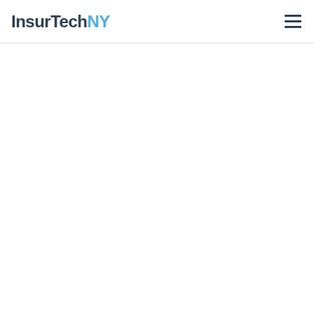InsurTechNY
[Figure (logo): InsurTechNY logo with hamburger menu icon in the top navigation bar]